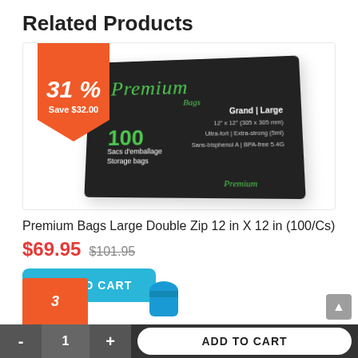Related Products
[Figure (photo): Product image of Premium Bags Large Double Zip storage bag box (black box, 100 count, Grand/Large) with an orange discount badge showing 31% off, Save $32.00]
Premium Bags Large Double Zip 12 in X 12 in (100/Cs)
$69.95  $101.95
ADD TO CART
[Figure (photo): Partial view of another product with orange badge and blue bag roll at bottom of page]
- 1 + ADD TO CART